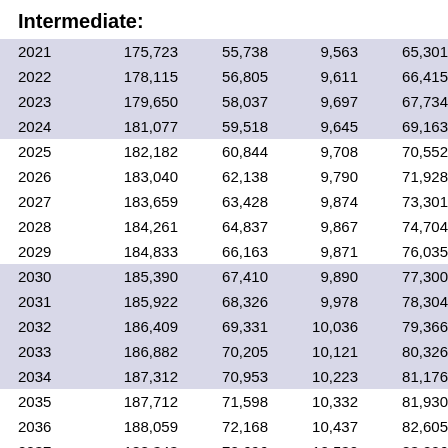Intermediate:
| Year |  |  |  |  |
| --- | --- | --- | --- | --- |
| 2021 | 175,723 | 55,738 | 9,563 | 65,301 |
| 2022 | 178,115 | 56,805 | 9,611 | 66,415 |
| 2023 | 179,650 | 58,037 | 9,697 | 67,734 |
| 2024 | 181,077 | 59,518 | 9,645 | 69,163 |
| 2025 | 182,182 | 60,844 | 9,708 | 70,552 |
| 2026 | 183,040 | 62,138 | 9,790 | 71,928 |
| 2027 | 183,659 | 63,428 | 9,874 | 73,301 |
| 2028 | 184,261 | 64,837 | 9,867 | 74,704 |
| 2029 | 184,833 | 66,163 | 9,871 | 76,035 |
| 2030 | 185,390 | 67,410 | 9,890 | 77,300 |
| 2031 | 185,922 | 68,326 | 9,978 | 78,304 |
| 2032 | 186,409 | 69,331 | 10,036 | 79,366 |
| 2033 | 186,882 | 70,205 | 10,121 | 80,326 |
| 2034 | 187,312 | 70,953 | 10,223 | 81,176 |
| 2035 | 187,712 | 71,598 | 10,332 | 81,930 |
| 2036 | 188,059 | 72,168 | 10,437 | 82,605 |
| 2037 | 188,343 | 72,696 | 10,530 | 83,226 |